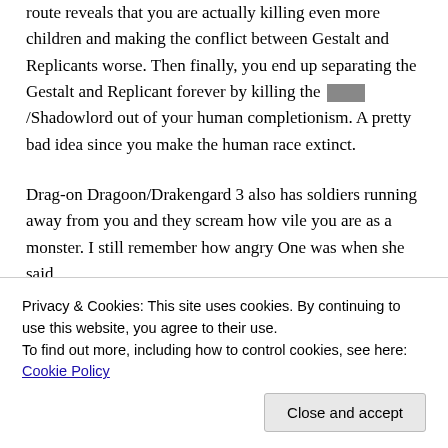route reveals that you are actually killing even more children and making the conflict between Gestalt and Replicants worse. Then finally, you end up separating the Gestalt and Replicant forever by killing the [redacted]/Shadowlord out of your human completionism. A pretty bad idea since you make the human race extinct.
Drag-on Dragoon/Drakengard 3 also has soldiers running away from you and they scream how vile you are as a monster. I still remember how angry One was when she said...
Privacy & Cookies: This site uses cookies. By continuing to use this website, you agree to their use.
To find out more, including how to control cookies, see here: Cookie Policy